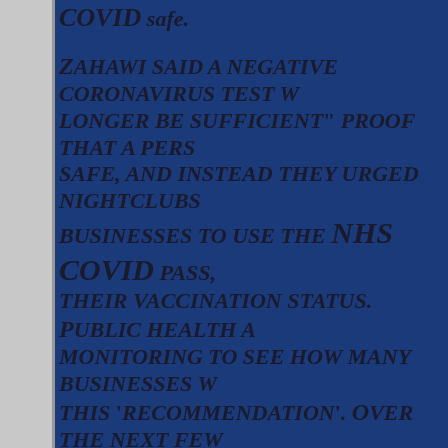COVID safe. Zahawi said a negative coronavirus test would 'no longer be sufficient' proof that a person is COVID safe, and instead they urged nightclubs and other businesses to use the NHS COVID pass, which shows their vaccination status. Public health authorities were monitoring to see how many businesses would follow this 'recommendation'. Over the next few weeks we will be keeping a close watch on how it is used, and they reserve the right to mandate if necessary. But pretty soon, providing proof of vaccination might be a requirement in the UK,
The EU is its own worst enemy